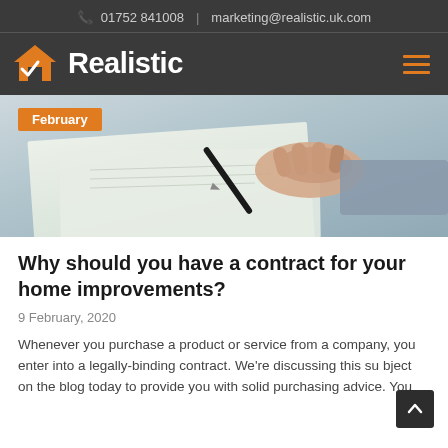📞 01752 841008  |  marketing@realistic.uk.com
[Figure (logo): Realistic company logo with orange house/checkmark icon and white bold text 'Realistic' on dark background, with hamburger menu icon on right]
[Figure (photo): Close-up photo of a hand signing a document with a pen on a desk. Orange badge reading 'February' overlaid on top-left.]
Why should you have a contract for your home improvements?
9 February, 2020
Whenever you purchase a product or service from a company, you enter into a legally-binding contract. We're discussing this subject on the blog today to provide you with solid purchasing advice. You